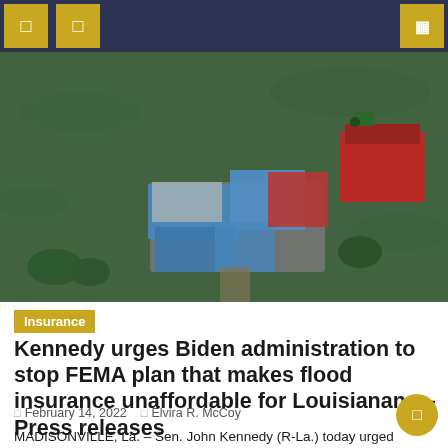Navigation bar with menu icons
[Figure (photo): Aerial view of a flood-damaged house surrounded by water, with blue tarps covering the roof. A red barn or outbuilding is visible in the upper right. The surrounding area is completely flooded with dark water.]
Insurance
Kennedy urges Biden administration to stop FEMA plan that makes flood insurance unaffordable for Louisianans – Press releases
February 14, 2022   Elvira R. McCoy
MADISONVILLE, La. – Sen. John Kennedy (R-La.) today urged President Biden to halt the implementation of the Federal